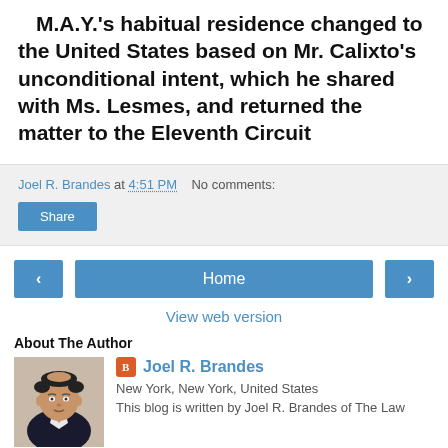M.A.Y.'s habitual residence changed to the United States based on Mr. Calixto's unconditional intent, which he shared with Ms. Lesmes, and returned the matter to the Eleventh Circuit
Joel R. Brandes at 4:51 PM   No comments:
Share
‹  Home  ›
View web version
About The Author
[Figure (photo): Author photo of Joel R. Brandes, an older man with sparse hair, white shirt, dark jacket]
Joel R. Brandes
New York, New York, United States
This blog is written by Joel R. Brandes of The Law